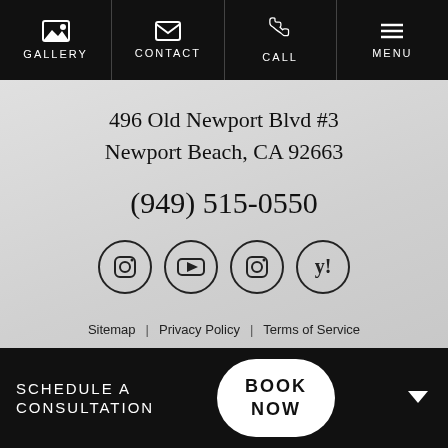GALLERY | CONTACT | CALL | MENU
496 Old Newport Blvd #3
Newport Beach, CA 92663
(949) 515-0550
[Figure (illustration): Four social media icons in circles: Instagram, YouTube, Instagram, Yelp]
Sitemap | Privacy Policy | Terms of Service
22 Dr. Sajjadian | Plastic Surgery Marketing & Medical Website Design by ///ABM
SCHEDULE A CONSULTATION  BOOK NOW